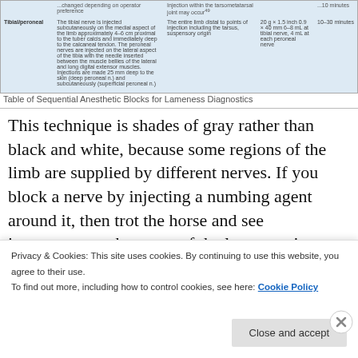|  | Technique | Area Desensitized | Needle/Volume | Onset |
| --- | --- | --- | --- | --- |
|  | ...changed depending on operator preference | Injection within the tarsometatarsal joint may occur |  | ...10 minutes |
| Tibial/peroneal | The tibial nerve is injected subcutaneously on the medial aspect of the limb approximately 4-6 cm proximal to the tuber calcis and immediately deep to the calcaneal tendon. The peroneal nerves are injected on the lateral aspect of the tibia with the needle inserted between the muscle bellies of the lateral and long digital extensor muscles. Injections are made 25 mm deep to the skin (deep peroneal n.) and subcutaneously (superficial peroneal n.) | The entire limb distal to points of injection including the tarsus, suspensory origin | 20 g × 1.5 inch 0.9 × 40 mm 6-8 mL at tibial nerve, 4 mL at each peroneal nerve | 10-30 minutes |
Table of Sequential Anesthetic Blocks for Lameness Diagnostics
This technique is shades of gray rather than black and white, because some regions of the limb are supplied by different nerves. If you block a nerve by injecting a numbing agent around it, then trot the horse and see improvement, the cause of the lameness is usually from structure that the "numbed" nerve supplies. Improvement of about 60-70% after blocking a nerve would be
Privacy & Cookies: This site uses cookies. By continuing to use this website, you agree to their use. To find out more, including how to control cookies, see here: Cookie Policy